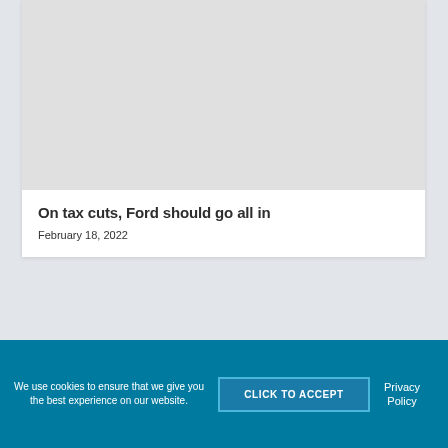[Figure (photo): Light gray placeholder image area at the top of an article card]
On tax cuts, Ford should go all in
February 18, 2022
We use cookies to ensure that we give you the best experience on our website.
CLICK TO ACCEPT
Privacy Policy